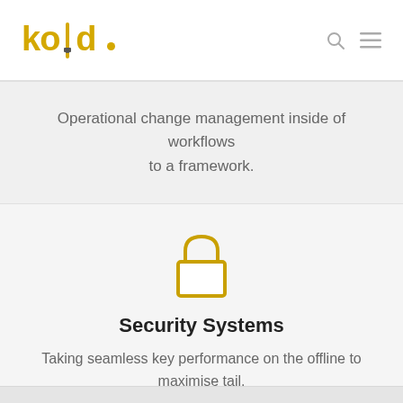kold . [search icon] [menu icon]
Operational change management inside of workflows to a framework.
[Figure (illustration): Gold/yellow padlock icon — outline style with rounded shackle and rectangular body]
Security Systems
Taking seamless key performance on the offline to maximise tail.